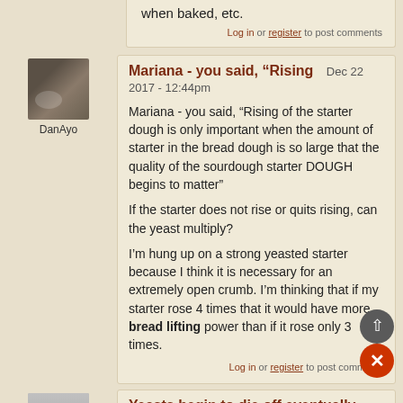when baked, etc.
Log in or register to post comments
Mariana - you said, “Rising
Dec 22 2017 - 12:44pm
DanAyo
Mariana - you said, “Rising of the starter dough is only important when the amount of starter in the bread dough is so large that the quality of the sourdough starter DOUGH begins to matter”

If the starter does not rise or quits rising, can the yeast multiply?

I’m hung up on a strong yeasted starter because I think it is necessary for an extremely open crumb. I’m thinking that if my starter rose 4 times that it would have more bread lifting power than if it rose only 3 times.
Log in or register to post comments
Yeasts begin to die off eventually
Dec 22 2017 - 1:01pm
Lechem (not
They become waste. The starter (or levain - as